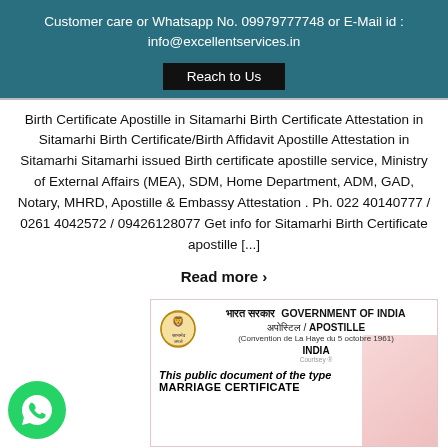Customer care or Whatsapp No. 09979777748 or E-Mail id : info@excellentservices.in
Reach to Us
Birth Certificate Apostille in Sitamarhi Birth Certificate Attestation in Sitamarhi Birth Certificate/Birth Affidavit Apostille Attestation in Sitamarhi Sitamarhi issued Birth certificate apostille service, Ministry of External Affairs (MEA), SDM, Home Department, ADM, GAD, Notary, MHRD, Apostille & Embassy Attestation . Ph. 022 40140777 / 0261 4042572 / 09426128077 Get info for Sitamarhi Birth Certificate apostille [...]
Read more ›
[Figure (photo): Government of India Apostille certificate sticker showing emblem, Hindi and English text: GOVERNMENT OF INDIA, अपोस्टिल / APOSTILLE, (Convention de La Haye du 5 octobre 1961), INDIA, This public document of the type, MARRIAGE CERTIFICATE. Courtsey watermark visible. Red decorative background on right side.]